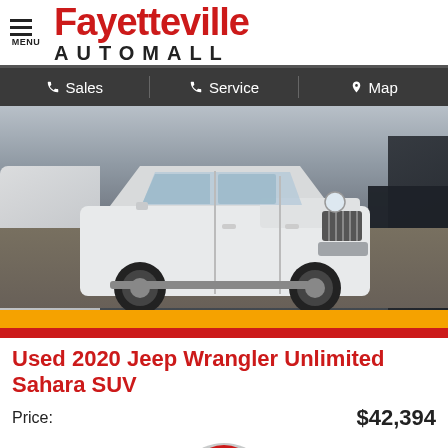[Figure (logo): Fayetteville Automall logo with hamburger menu icon on the left, red stylized 'Fayetteville' text and black 'AUTOMALL' text below]
Sales   Service   Map
[Figure (photo): Photo of a white 2020 Jeep Wrangler Unlimited Sahara SUV parked in a car lot with other vehicles visible on either side, orange and red strip at the bottom of the image]
Used 2020 Jeep Wrangler Unlimited Sahara SUV
Price:                                                      $42,394
[Figure (other): Partially visible circular GET button with red center and gray outer ring at the bottom of the page]